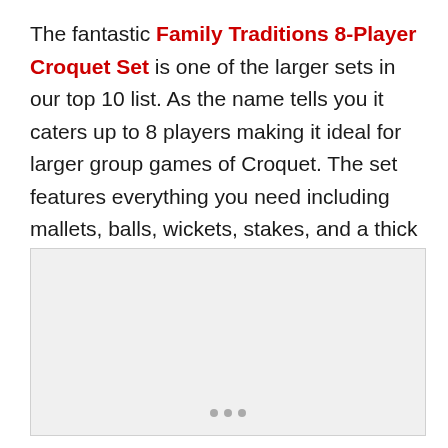The fantastic Family Traditions 8-Player Croquet Set is one of the larger sets in our top 10 list. As the name tells you it caters up to 8 players making it ideal for larger group games of Croquet. The set features everything you need including mallets, balls, wickets, stakes, and a thick protective carry bag.
[Figure (photo): Product image placeholder for the Family Traditions 8-Player Croquet Set, shown as a light gray rectangle with carousel navigation dots at the bottom.]